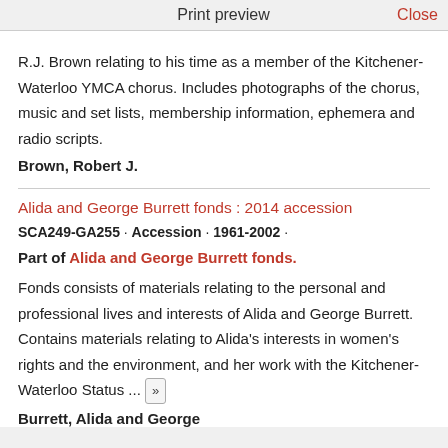Print preview   Close
R.J. Brown relating to his time as a member of the Kitchener-Waterloo YMCA chorus. Includes photographs of the chorus, music and set lists, membership information, ephemera and radio scripts.
Brown, Robert J.
Alida and George Burrett fonds : 2014 accession
SCA249-GA255 · Accession · 1961-2002 ·
Part of Alida and George Burrett fonds.
Fonds consists of materials relating to the personal and professional lives and interests of Alida and George Burrett. Contains materials relating to Alida's interests in women's rights and the environment, and her work with the Kitchener-Waterloo Status ... »
Burrett, Alida and George